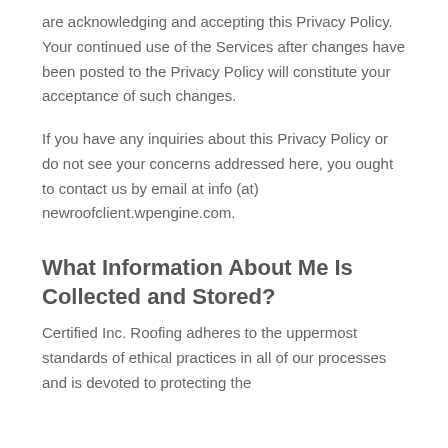are acknowledging and accepting this Privacy Policy. Your continued use of the Services after changes have been posted to the Privacy Policy will constitute your acceptance of such changes.
If you have any inquiries about this Privacy Policy or do not see your concerns addressed here, you ought to contact us by email at info (at) newroofclient.wpengine.com.
What Information About Me Is Collected and Stored?
Certified Inc. Roofing adheres to the uppermost standards of ethical practices in all of our processes and is devoted to protecting the